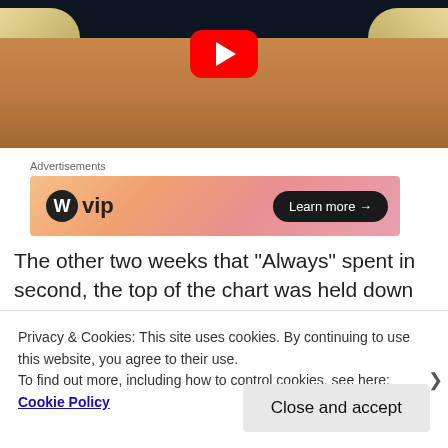[Figure (screenshot): YouTube video thumbnail showing a woman with braided hair, dark top, choker necklace, with a red YouTube play button overlaid on dark background]
Advertisements
[Figure (photo): WordPress VIP advertisement banner with gradient background and Learn more button]
The other two weeks that “Always” spent in second, the top of the chart was held down by Pato Banton’s reggae
Privacy & Cookies: This site uses cookies. By continuing to use this website, you agree to their use.
To find out more, including how to control cookies, see here: Cookie Policy